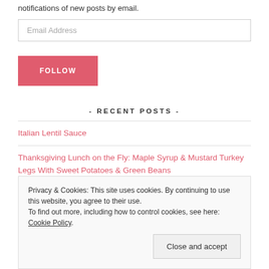notifications of new posts by email.
Email Address
FOLLOW
- RECENT POSTS -
Italian Lentil Sauce
Thanksgiving Lunch on the Fly: Maple Syrup & Mustard Turkey Legs With Sweet Potatoes & Green Beans
Privacy & Cookies: This site uses cookies. By continuing to use this website, you agree to their use.
To find out more, including how to control cookies, see here: Cookie Policy
Close and accept